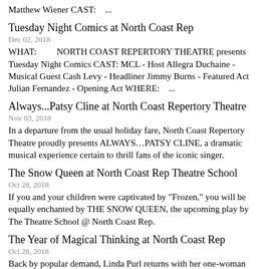Matthew Wiener CAST:    ...
Tuesday Night Comics at North Coast Rep
Dec 02, 2018
WHAT:         NORTH COAST REPERTORY THEATRE presents Tuesday Night Comics CAST: MCL - Host Allegra Duchaine - Musical Guest Cash Levy - Headliner Jimmy Burns - Featured Act Julian Fernandez - Opening Act WHERE:    ...
Always...Patsy Cline at North Coast Repertory Theatre
Nov 03, 2018
In a departure from the usual holiday fare, North Coast Repertory Theatre proudly presents ALWAYS…PATSY CLINE, a dramatic musical experience certain to thrill fans of the iconic singer.
The Snow Queen at North Coast Rep Theatre School
Oct 28, 2018
If you and your children were captivated by "Frozen," you will be equally enchanted by THE SNOW QUEEN, the upcoming play by The Theatre School @ North Coast Rep.
The Year of Magical Thinking at North Coast Rep
Oct 28, 2018
Back by popular demand, Linda Purl returns with her one-woman